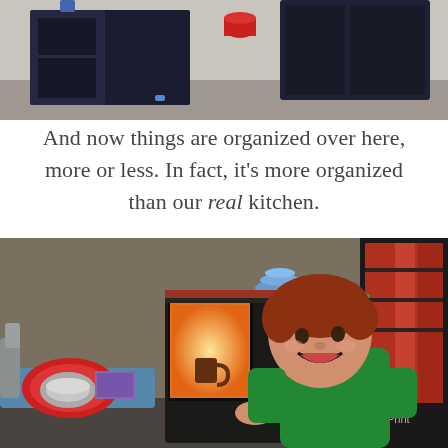[Figure (photo): Photo of a toy play kitchen set with open doors/compartments, shelves visible with toy items inside, carpet floor visible]
And now things are organized over here, more or less. In fact, it's more organized than our real kitchen.
[Figure (photo): Photo of a smiling toddler with red/brown hair wearing a green shirt, crouching next to a small toy kitchen/refrigerator with a glowing light inside, a blue play kitchen counter with a bowl and bookshelf visible in the background]